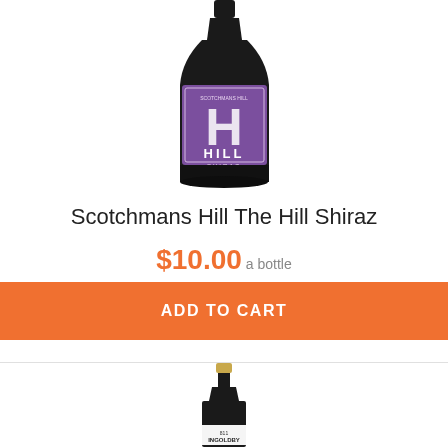[Figure (photo): Wine bottle with purple label featuring large letter H and text HILL SHIRAZ - Scotchmans Hill product]
Scotchmans Hill The Hill Shiraz
$10.00 a bottle
ADD TO CART
[Figure (photo): Wine bottle with gold cap and white label showing INGOLDBY text at bottom]